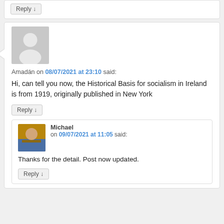Reply ↓ (top comment, partial)
Amadán on 08/07/2021 at 23:10 said:
Hi, can tell you now, the Historical Basis for socialism in Ireland is from 1919, originally published in New York
Reply ↓
Michael on 09/07/2021 at 11:05 said:
Thanks for the detail. Post now updated.
Reply ↓